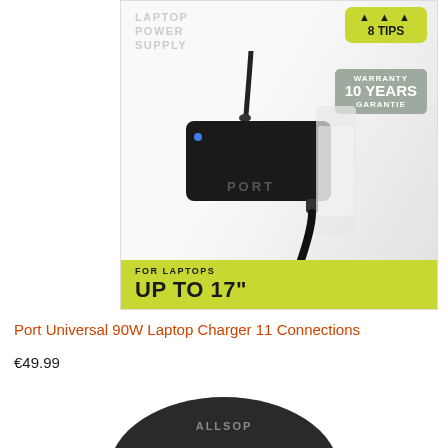[Figure (photo): Port Universal 90W Laptop Power Supply product photo showing a black rectangular charger unit with cable, 8 Tips badge, 10 Years Warranty badge, and 'For Laptops Up To 17 inches' banner on a light grey background]
Port Universal 90W Laptop Charger 11 Connections
€49.99
[Figure (photo): Allsop product — partially visible black oval/dome shaped device with ALLSOP branding]